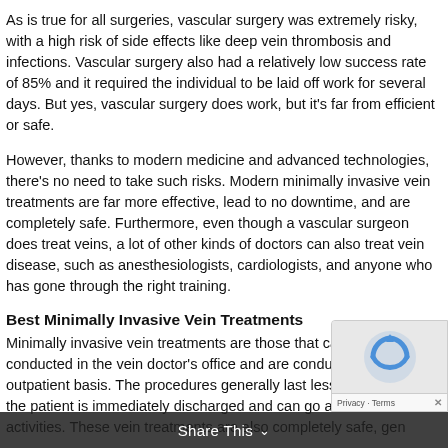As is true for all surgeries, vascular surgery was extremely risky, with a high risk of side effects like deep vein thrombosis and infections. Vascular surgery also had a relatively low success rate of 85% and it required the individual to be laid off work for several days. But yes, vascular surgery does work, but it's far from efficient or safe.
However, thanks to modern medicine and advanced technologies, there's no need to take such risks. Modern minimally invasive vein treatments are far more effective, lead to no downtime, and are completely safe. Furthermore, even though a vascular surgeon does treat veins, a lot of other kinds of doctors can also treat vein disease, such as anesthesiologists, cardiologists, and anyone who has gone through the right training.
Best Minimally Invasive Vein Treatments
Minimally invasive vein treatments are those that can generally be conducted in the vein doctor's office and are conducted on an outpatient basis. The procedures generally last less than an h... the patient is immediately discharged and can go about their activities. These vein treatments are also completely safe, generally